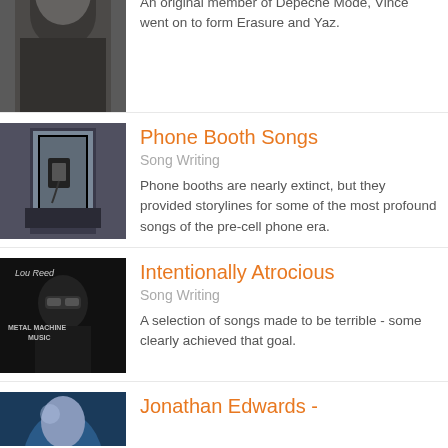[Figure (photo): Black and white photo of a man in black clothing, cropped at top]
Vince Clarke
Songwriter Interviews
An original member of Depeche Mode, Vince went on to form Erasure and Yaz.
[Figure (photo): Photo of a phone booth interior]
Phone Booth Songs
Song Writing
Phone booths are nearly extinct, but they provided storylines for some of the most profound songs of the pre-cell phone era.
[Figure (photo): Lou Reed Metal Machine Music album cover]
Intentionally Atrocious
Song Writing
A selection of songs made to be terrible - some clearly achieved that goal.
[Figure (photo): Partial photo of a person, bottom of page]
Jonathan Edwards -